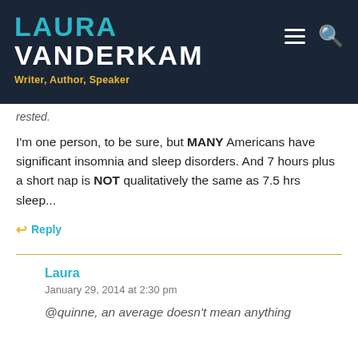LAURA VANDERKAM
Writer, Author, Speaker
rested.
I'm one person, to be sure, but MANY Americans have significant insomnia and sleep disorders. And 7 hours plus a short nap is NOT qualitatively the same as 7.5 hrs sleep...
↩ Reply
Laura
January 29, 2014 at 2:30 pm
@quinne, an average doesn't mean anything